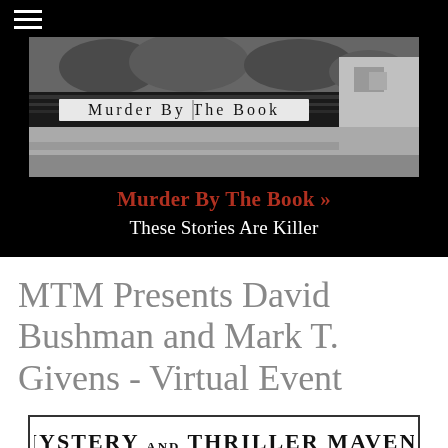[Figure (photo): Black and white photo of the Murder By The Book bookstore exterior with sign reading 'Murder By The Book']
Murder By The Book »
These Stories Are Killer
MTM Presents David Bushman and Mark T. Givens - Virtual Event
[Figure (logo): Mystery and Thriller Mavens logo hosted by Murder By The Book]